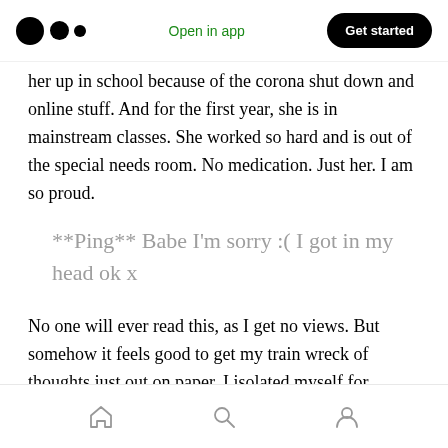Medium logo | Open in app | Get started
her up in school because of the corona shut down and online stuff. And for the first year, she is in mainstream classes. She worked so hard and is out of the special needs room. No medication. Just her. I am so proud.
**Ping** Babe I'm sorry :( I got in my head ok x
No one will ever read this, as I get no views. But somehow it feels good to get my train wreck of thoughts just out on paper. I isolated myself for
Home | Search | Profile